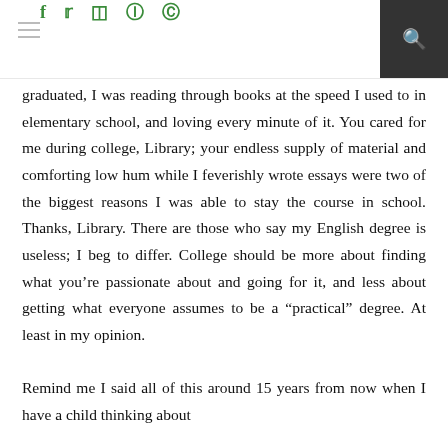Social media icons: f, twitter, instagram, pinterest, rss, search
graduated, I was reading through books at the speed I used to in elementary school, and loving every minute of it. You cared for me during college, Library; your endless supply of material and comforting low hum while I feverishly wrote essays were two of the biggest reasons I was able to stay the course in school. Thanks, Library. There are those who say my English degree is useless; I beg to differ. College should be more about finding what you're passionate about and going for it, and less about getting what everyone assumes to be a “practical” degree. At least in my opinion.
Remind me I said all of this around 15 years from now when I have a child thinking about